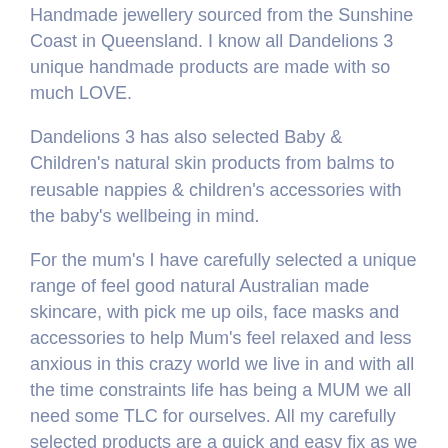Handmade jewellery sourced from the Sunshine Coast in Queensland. I know all Dandelions 3 unique handmade products are made with so much LOVE.
Dandelions 3 has also selected Baby & Children's natural skin products from balms to reusable nappies & children's accessories with the baby's wellbeing in mind.
For the mum's I have carefully selected a unique range of feel good natural Australian made skincare, with pick me up oils, face masks and accessories to help Mum's feel relaxed and less anxious in this crazy world we live in and with all the time constraints life has being a MUM we all need some TLC for ourselves. All my carefully selected products are a quick and easy fix as we know Mum's are ALWAYS in a RUSH and always thinking two steps ahead.
For the DAD'S a range of natural skincare and personal wellbeing products. Dandelions 3 also has a range of